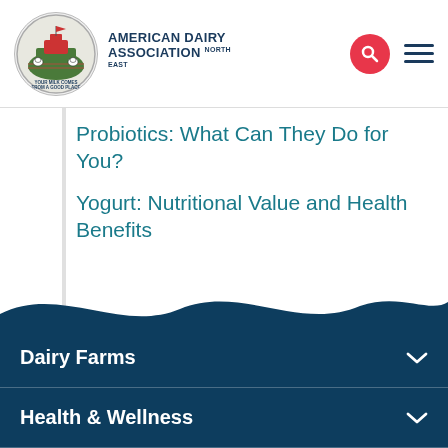[Figure (logo): American Dairy Association North East logo with circular emblem showing a farm scene and cows]
Probiotics: What Can They Do for You?
Yogurt: Nutritional Value and Health Benefits
Dairy Farms
Health & Wellness
Sustainability
In Schools